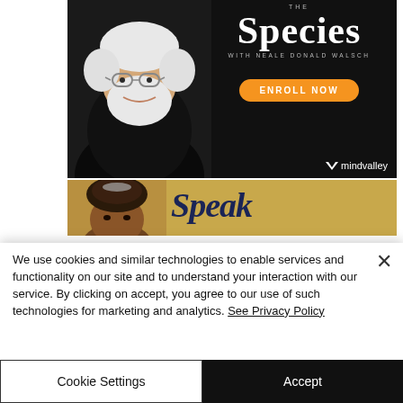[Figure (illustration): Mindvalley advertisement for a course called 'The Species' with Neale Donald Walsch. Shows an elderly man with white hair and beard in a black shirt, with course title text and an orange 'ENROLL NOW' button, and the Mindvalley logo at bottom right. Background is dark/black.]
[Figure (illustration): Second advertisement showing a person with braided hair updo against a golden/beige background, with the word 'Speak' in large dark blue bold italic text partially visible.]
We use cookies and similar technologies to enable services and functionality on our site and to understand your interaction with our service. By clicking on accept, you agree to our use of such technologies for marketing and analytics. See Privacy Policy